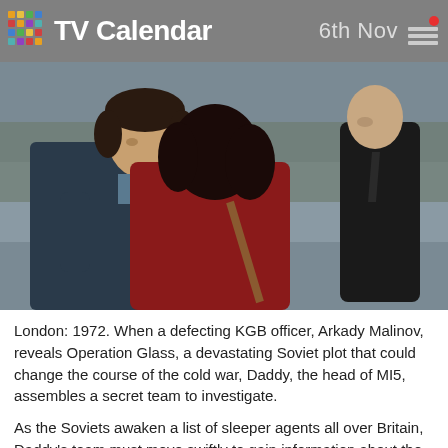TV Calendar  6th Nov
[Figure (photo): Two people embracing in a cold outdoor setting near water, with a bald man in a dark suit watching in the background. A spy drama scene.]
London: 1972. When a defecting KGB officer, Arkady Malinov, reveals Operation Glass, a devastating Soviet plot that could change the course of the cold war, Daddy, the head of MI5, assembles a secret team to investigate.
As the Soviets awaken a list of sleeper agents all over Britain, Daddy's team must move swiftly to gain information about the